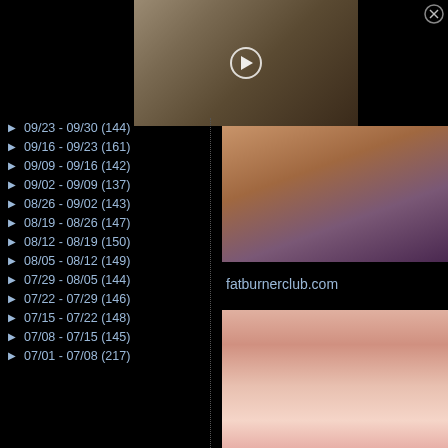[Figure (photo): Person typing on a laptop with a coffee cup nearby, video thumbnail with play button]
[Figure (photo): Close-up of a person in colorful swimwear]
▶ 09/23 - 09/30 (144)
▶ 09/16 - 09/23 (161)
▶ 09/09 - 09/16 (142)
▶ 09/02 - 09/09 (137)
▶ 08/26 - 09/02 (143)
▶ 08/19 - 08/26 (147)
▶ 08/12 - 08/19 (150)
▶ 08/05 - 08/12 (149)
▶ 07/29 - 08/05 (144)
▶ 07/22 - 07/29 (146)
▶ 07/15 - 07/22 (148)
▶ 07/08 - 07/15 (145)
▶ 07/01 - 07/08 (217)
fatburnerclub.com
[Figure (photo): Close-up of fingernails/fingers]